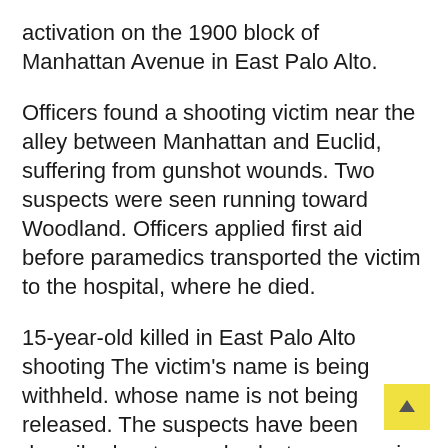activation on the 1900 block of Manhattan Avenue in East Palo Alto.
Officers found a shooting victim near the alley between Manhattan and Euclid, suffering from gunshot wounds. Two suspects were seen running toward Woodland. Officers applied first aid before paramedics transported the victim to the hospital, where he died.
15-year-old killed in East Palo Alto shooting The victim's name is being withheld. whose name is not being released. The suspects have been described as two males last seen running towards Woodland.